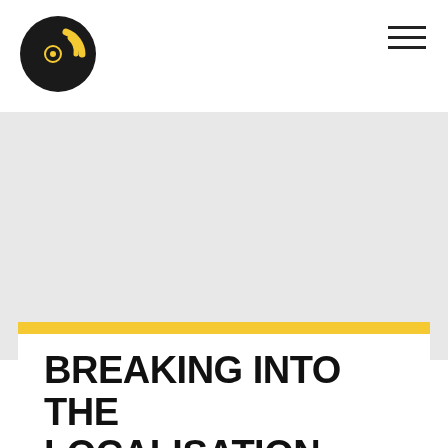[Figure (logo): Circular black and yellow logo resembling a vinyl record with a speaker/sound icon]
[Figure (other): Hamburger menu icon (three horizontal lines) in the top right corner]
BREAKING INTO THE LOCALISATION